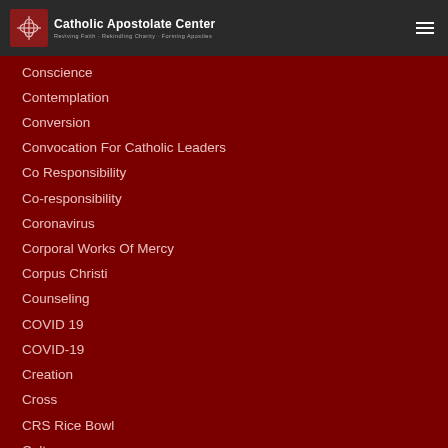Catholic Apostolate Center — Reviving Faith · Rekindling Charity · Forming Apostles
Conscience
Contemplation
Conversion
Convocation For Catholic Leaders
Co Responsibility
Co-responsibility
Coronavirus
Corporal Works Of Mercy
Corpus Christi
Counseling
COVID 19
COVID-19
Creation
Cross
CRS Rice Bowl
Culture
Cyn